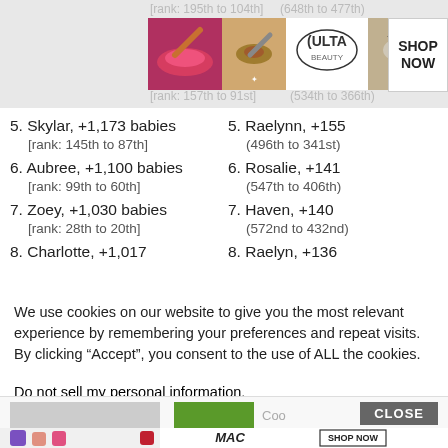[Figure (photo): ULTA beauty advertisement banner with makeup photos and 'SHOP NOW' button]
[rank: 195th to 104th]
(648th to 477th)
[rank: 157th to 91st]
(534th to 366th)
5. Skylar, +1,173 babies
[rank: 145th to 87th]
5. Raelynn, +155
(496th to 341st)
6. Aubree, +1,100 babies
[rank: 99th to 60th]
6. Rosalie, +141
(547th to 406th)
7. Zoey, +1,030 babies
[rank: 28th to 20th]
7. Haven, +140
(572nd to 432nd)
8. Charlotte, +1,017
8. Raelyn, +136
We use cookies on our website to give you the most relevant experience by remembering your preferences and repeat visits. By clicking “Accept”, you consent to the use of ALL the cookies.
Do not sell my personal information.
[Figure (photo): MAC cosmetics advertisement with lipsticks and 'SHOP NOW' button]